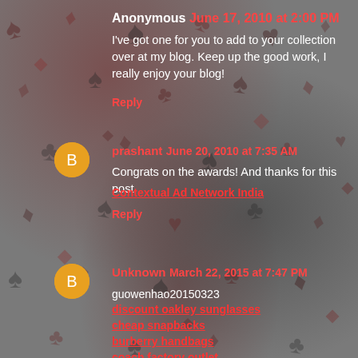Anonymous June 17, 2010 at 2:00 PM
I've got one for you to add to your collection over at my blog. Keep up the good work, I really enjoy your blog!
Reply
prashant June 20, 2010 at 7:35 AM
Congrats on the awards! And thanks for this post
Contextual Ad Network India
Reply
Unknown March 22, 2015 at 7:47 PM
guowenhao20150323
discount oakley sunglasses
cheap snapbacks
burberry handbags
coach factory outlet
kate spade outlet